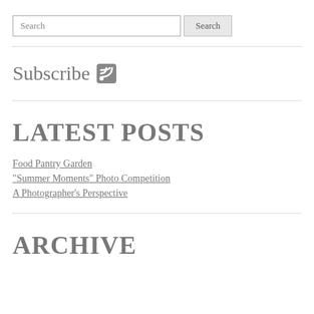Search [search bar with Search button]
Subscribe [RSS icon]
LATEST POSTS
Food Pantry Garden
"Summer Moments" Photo Competition
A Photographer's Perspective
ARCHIVE